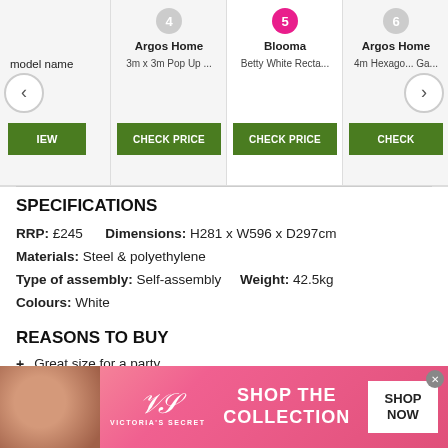[Figure (screenshot): Product comparison carousel showing items 4 (Argos Home 3m x 3m Pop Up...), 5 active (Blooma Betty White Recta...), 6 (Argos Home 4m Hexago... Ga...) with CHECK PRICE buttons]
SPECIFICATIONS
RRP: £245    Dimensions: H281 x W596 x D297cm
Materials: Steel & polyethylene
Type of assembly: Self-assembly    Weight: 42.5kg
Colours: White
REASONS TO BUY
+ Great size for a party
+ Good value considering its size
REASONS TO AVOID
[Figure (photo): Victoria's Secret advertisement banner with a woman's photo, VS logo, SHOP THE COLLECTION text, and SHOP NOW button]